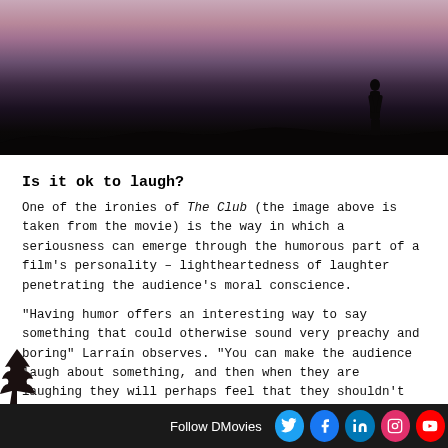[Figure (photo): Dark cinematic still from The Club movie showing a silhouette of a person against a purple-pink sunset sky over water]
Is it ok to laugh?
One of the ironies of The Club (the image above is taken from the movie) is the way in which a seriousness can emerge through the humorous part of a film's personality – lightheartedness of laughter penetrating the audience's moral conscience.
“Having humor offers an interesting way to say something that could otherwise sound very preachy and boring” Larraín observes. “You can make the audience laugh about something, and then when they are laughing they will perhaps feel that they shouldn’t be, and so they feel uncomfortable, and they ask the moral question laughing at th should I not b
Follow DMovies